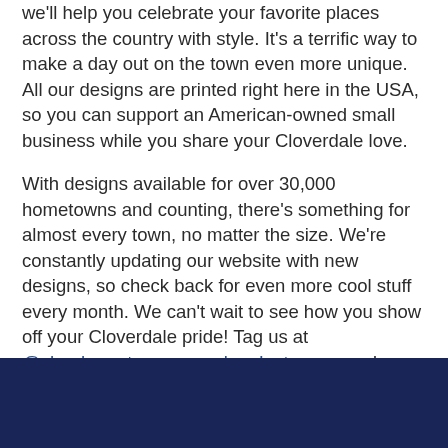we'll help you celebrate your favorite places across the country with style. It's a terrific way to make a day out on the town even more unique. All our designs are printed right here in the USA, so you can support an American-owned small business while you share your Cloverdale love.
With designs available for over 30,000 hometowns and counting, there's something for almost every town, no matter the size. We're constantly updating our website with new designs, so check back for even more cool stuff every month. We can't wait to see how you show off your Cloverdale pride! Tag us at @shophometownapparel on Instagram and Facebook to spread the love.